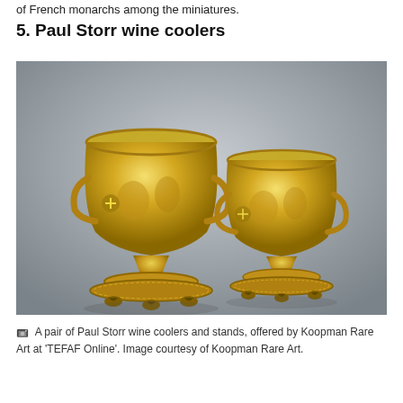of French monarchs among the miniatures.
5. Paul Storr wine coolers
[Figure (photo): A pair of ornate gilded Paul Storr wine coolers and stands with embossed figural decoration, lion-paw feet, and scrolled handles, photographed against a grey gradient background.]
A pair of Paul Storr wine coolers and stands, offered by Koopman Rare Art at 'TEFAF Online'. Image courtesy of Koopman Rare Art.